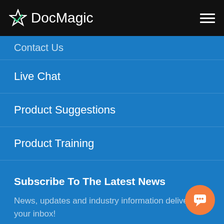DocMagic
Contact Us
Live Chat
Product Suggestions
Product Training
Subscribe To The Latest News
News, updates and industry information delivered to your inbox!